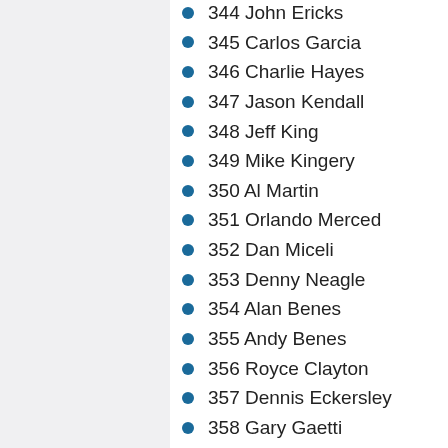344 John Ericks
345 Carlos Garcia
346 Charlie Hayes
347 Jason Kendall
348 Jeff King
349 Mike Kingery
350 Al Martin
351 Orlando Merced
352 Dan Miceli
353 Denny Neagle
354 Alan Benes
355 Andy Benes
356 Royce Clayton
357 Dennis Eckersley
358 Gary Gaetti
359 Ron Gant
360 Brian Jordan
361 Ray Lankford
362 John Mabry